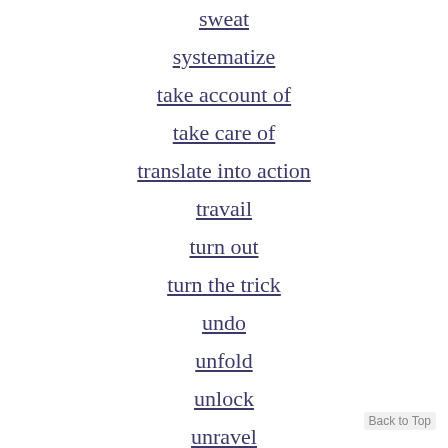sweat
systematize
take account of
take care of
translate into action
travail
turn out
turn the trick
undo
unfold
unlock
unravel
unscramble
Back to Top